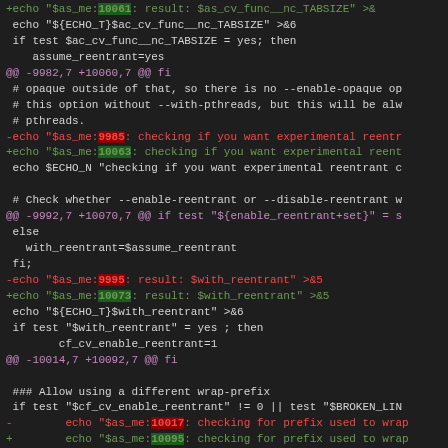[Figure (screenshot): A diff/patch view of shell script code shown in a dark-themed code editor. Lines show removed lines in red and added lines in green, with magenta diff hunk headers. Highlighted numbers indicate line number changes.]